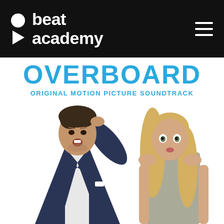[Figure (logo): Beat Academy logo: circle icon, play triangle icon, and bold white text 'beat academy' on black background with hamburger menu icon on right]
[Figure (photo): Overboard Original Motion Picture Soundtrack album cover showing a man in a navy suit with disheveled hair scratching his head with a stressed expression, and a blonde woman in a gray tank top standing next to him, looking surprised. Large blue 'OVERBOARD' text at top with 'ORIGINAL MOTION PICTURE SOUNDTRACK' subtitle.]